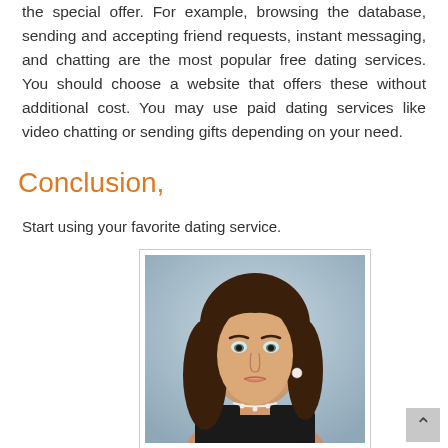the special offer. For example, browsing the database, sending and accepting friend requests, instant messaging, and chatting are the most popular free dating services. You should choose a website that offers these without additional cost. You may use paid dating services like video chatting or sending gifts depending on your need.
Conclusion,
Start using your favorite dating service.
[Figure (photo): Portrait photo of a young woman with long brown hair, blue eyes, wearing a pearl necklace and black top, against a light blue-grey background.]